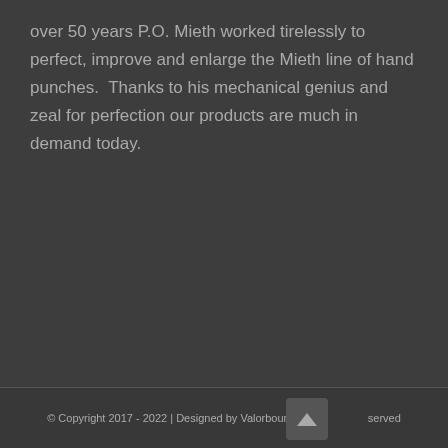over 50 years P.O. Mieth worked tirelessly to perfect, improve and enlarge the Mieth line of hand punches. Thanks to his mechanical genius and zeal for perfection our products are much in demand today.
© Copyright 2017 - 2022 | Designed by Valorbound | All Rights Reserved